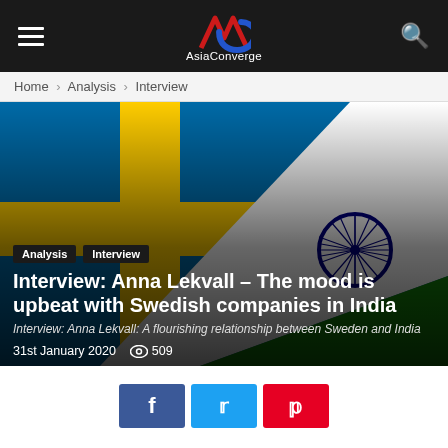AsiaConverge — site header with hamburger menu and search icon
Home › Analysis › Interview
[Figure (photo): Close-up of Sweden and India flags layered together with Swedish cross in blue and yellow visible on the left and Indian tricolor with Ashoka Chakra visible on the right]
Analysis
Interview
Interview: Anna Lekvall – The mood is upbeat with Swedish companies in India
Interview: Anna Lekvall: A flourishing relationship between Sweden and India
31st January 2020   509
[Figure (other): Social sharing buttons: Facebook (blue), Twitter (cyan), Pinterest (red)]